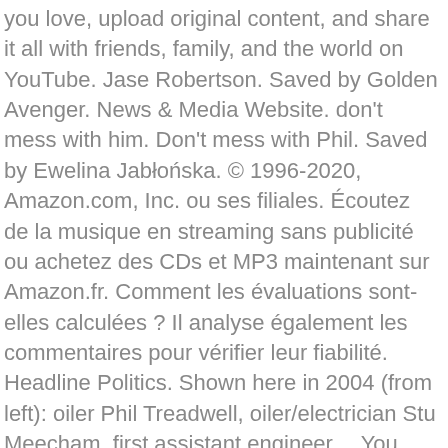you love, upload original content, and share it all with friends, family, and the world on YouTube. Jase Robertson. Saved by Golden Avenger. News & Media Website. don't mess with him. Don't mess with Phil. Saved by Ewelina Jabłońska. © 1996-2020, Amazon.com, Inc. ou ses filiales. Écoutez de la musique en streaming sans publicité ou achetez des CDs et MP3 maintenant sur Amazon.fr. Comment les évaluations sont-elles calculées ? Il analyse également les commentaires pour vérifier leur fiabilité. Headline Politics. Shown here in 2004 (from left): oiler Phil Treadwell, oiler/electrician Stu Meecham, first assistant engineer… You don't mess around with Phil Memo: Members of the Auckland Council 'family'. Saved by Jasmine Nethken. Just that Kessel made an even poorer decision by using his stick as a weapon. HQ ReMasH entirely conceived, created, edited, and produced by Lord Bones (LordBones@Null.net)… Pour profiter de la musique Prime, allez sur votre Bibliothèque musicale et transférez votre compte à Amazon.fr (FR). 2. 3. Duck Dynasty Family West